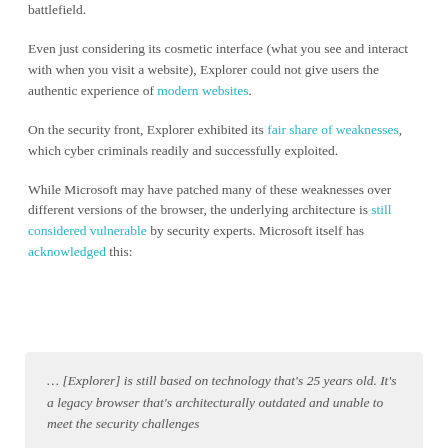battlefield.
Even just considering its cosmetic interface (what you see and interact with when you visit a website), Explorer could not give users the authentic experience of modern websites.
On the security front, Explorer exhibited its fair share of weaknesses, which cyber criminals readily and successfully exploited.
While Microsoft may have patched many of these weaknesses over different versions of the browser, the underlying architecture is still considered vulnerable by security experts. Microsoft itself has acknowledged this:
… [Explorer] is still based on technology that's 25 years old. It's a legacy browser that's architecturally outdated and unable to meet the security challenges